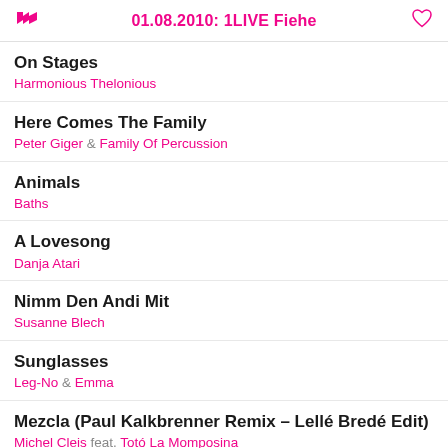01.08.2010: 1LIVE Fiehe
On Stages – Harmonious Thelonious
Here Comes The Family – Peter Giger & Family Of Percussion
Animals – Baths
A Lovesong – Danja Atari
Nimm Den Andi Mit – Susanne Blech
Sunglasses – Leg-No & Emma
Mezcla (Paul Kalkbrenner Remix – Lellé Bredé Edit) – Michel Cleis feat. Totó La Momposina